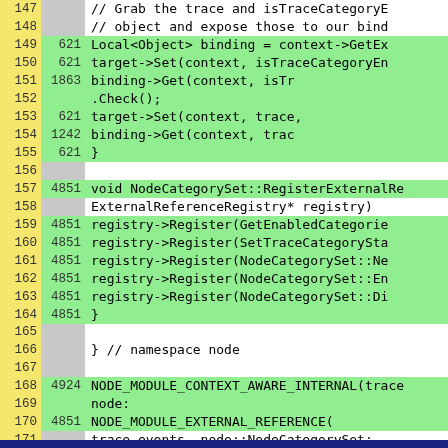[Figure (screenshot): Code coverage viewer showing C++ source lines 147-171 with line numbers in yellow column, coverage hit counts in gray/green column, and source code in white/green column. Green highlighting indicates covered lines.]